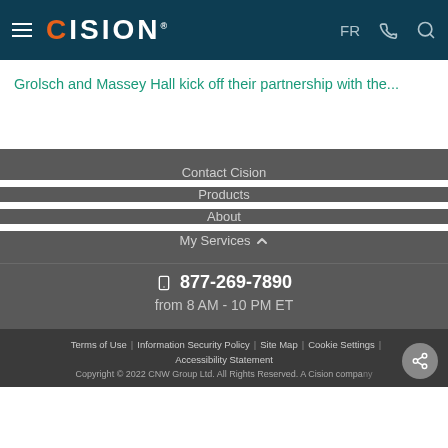CISION — FR [phone] [search]
Grolsch and Massey Hall kick off their partnership with the...
Contact Cision
Products
About
My Services
877-269-7890
from 8 AM - 10 PM ET
Terms of Use | Information Security Policy | Site Map | Cookie Settings | Accessibility Statement
Copyright © 2022 CNW Group Ltd. All Rights Reserved. A Cision company